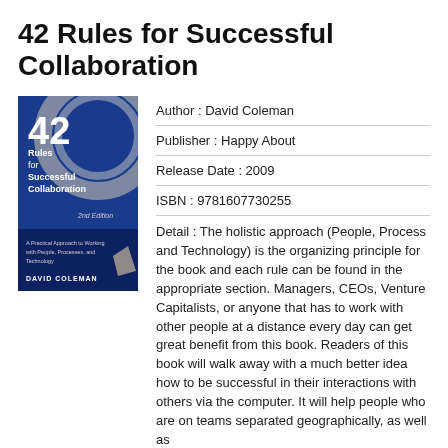42 Rules for Successful Collaboration
[Figure (illustration): Book cover of '42 Rules for Successful Collaboration' by David Coleman. Blue cover with the number 42 prominently displayed, subtitle 'A Practical Approach to Working with People, Processes, and Technology'.]
Author : David Coleman
Publisher : Happy About
Release Date : 2009
ISBN : 9781607730255
Detail : The holistic approach (People, Process and Technology) is the organizing principle for the book and each rule can be found in the appropriate section. Managers, CEOs, Venture Capitalists, or anyone that has to work with other people at a distance every day can get great benefit from this book. Readers of this book will walk away with a much better idea how to be successful in their interactions with others via the computer. It will help people who are on teams separated geographically, as well as